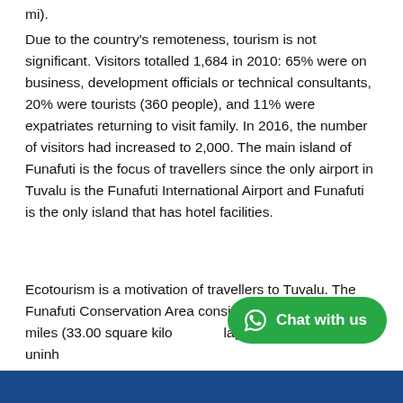mi).
Due to the country's remoteness, tourism is not significant. Visitors totalled 1,684 in 2010: 65% were on business, development officials or technical consultants, 20% were tourists (360 people), and 11% were expatriates returning to visit family. In 2016, the number of visitors had increased to 2,000. The main island of Funafuti is the focus of travellers since the only airport in Tuvalu is the Funafuti International Airport and Funafuti is the only island that has hotel facilities.
Ecotourism is a motivation of travellers to Tuvalu. The Funafuti Conservation Area consists of 12.74 square miles (33.00 square kilo… lagoon, channel and six uninh…